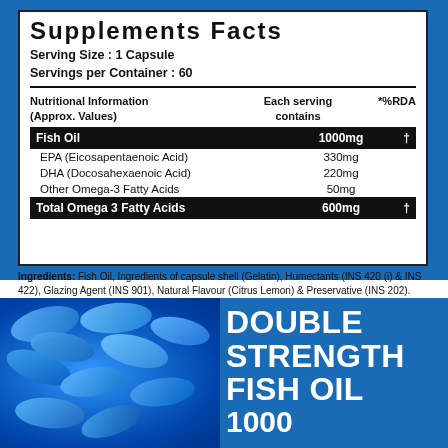Supplements Facts
Serving Size : 1 Capsule
Servings per Container : 60
| Nutritional Information (Approx. Values) | Each serving contains | *%RDA |
| --- | --- | --- |
| Fish Oil | 1000mg | † |
| EPA (Eicosapentaenoic Acid) | 330mg |  |
| DHA (Docosahexaenoic Acid) | 220mg |  |
| Other Omega-3 Fatty Acids | 50mg |  |
| Total Omega 3 Fatty Acids | 600mg | † |
Ingredients: Fish Oil, Ingredients of capsule shell (Gelatin), Humectants (INS 420 (i) & INS 422), Glazing Agent (INS 901), Natural Flavour (Citrus Lemon) & Preservative (INS 202).
[Figure (photo): Blue fish oil capsules arranged closely together]
DOUBLE STRENGTH FISH OIL 1000